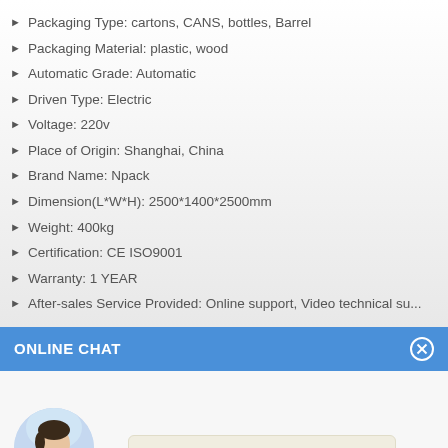Packaging Type: cartons, CANS, bottles, Barrel
Packaging Material: plastic, wood
Automatic Grade: Automatic
Driven Type: Electric
Voltage: 220v
Place of Origin: Shanghai, China
Brand Name: Npack
Dimension(L*W*H): 2500*1400*2500mm
Weight: 400kg
Certification: CE ISO9001
Warranty: 1 YEAR
After-sales Service Provided: Online support, Video technical su...
ONLINE CHAT
[Figure (illustration): Online chat panel with avatar photo of a woman named Cilina, a welcome message bubble saying 'Hi,welcome to visit our website.', and a yellow scroll-up button.]
Cilina
Hi,welcome to visit our website.